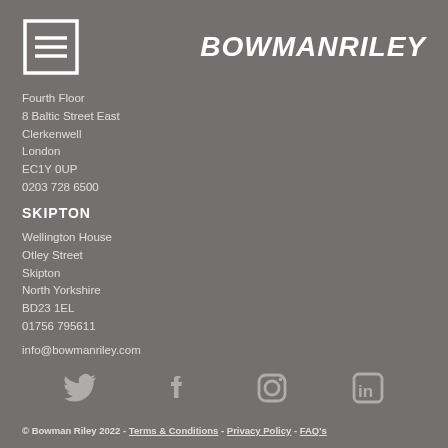[Figure (logo): Bowman Riley logo icon: a square outline with three horizontal lines inside, in white on grey background]
[Figure (logo): BOWMANRILEY brand name in bold white italic text]
Fourth Floor
8 Baltic Street East
Clerkenwell
London
EC1Y 0UP
0203 728 6500
SKIPTON
Wellington House
Otley Street
Skipton
North Yorkshire
BD23 1EL
01756 795611
info@bowmanriley.com
[Figure (infographic): Social media icons: Twitter (bird), Facebook (f), Instagram (camera), LinkedIn (in) — all in muted grey]
© Bowman Riley 2022 - Terms & Conditions - Privacy Policy - FAQ's